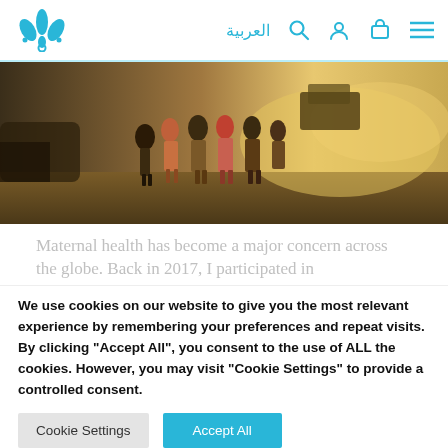Website header with logo and navigation icons including Arabic language toggle, search, user, cart, and menu
[Figure (photo): Photograph of a group of people standing on a dusty dirt road, viewed from behind, with a vehicle and dust cloud in the background. Warm golden-brown tones.]
Maternal health has become a major concern across the globe. Back in 2017, I participated in
We use cookies on our website to give you the most relevant experience by remembering your preferences and repeat visits. By clicking "Accept All", you consent to the use of ALL the cookies. However, you may visit "Cookie Settings" to provide a controlled consent.